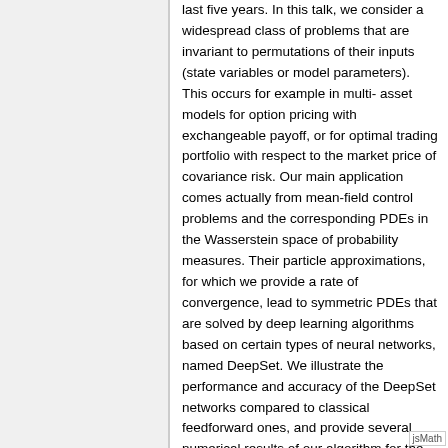last five years. In this talk, we consider a widespread class of problems that are invariant to permutations of their inputs (state variables or model parameters). This occurs for example in multi- asset models for option pricing with exchangeable payoff, or for optimal trading portfolio with respect to the market price of covariance risk. Our main application comes actually from mean-field control problems and the corresponding PDEs in the Wasserstein space of probability measures. Their particle approximations, for which we provide a rate of convergence, lead to symmetric PDEs that are solved by deep learning algorithms based on certain types of neural networks, named DeepSet. We illustrate the performance and accuracy of the DeepSet networks compared to classical feedforward ones, and provide several numerical results of our algorithm for the examples of a mean-field systemic risk, and mean-variance problem. Finally, we show how the combination of DeepSet and DeepOnet, a network architecture recently proposed for learning operators, provides a